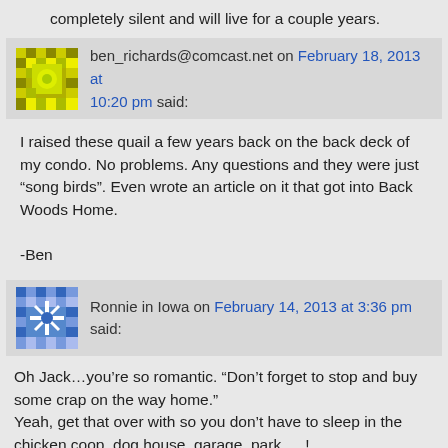completely silent and will live for a couple years.
ben_richards@comcast.net on February 18, 2013 at 10:20 pm said:
I raised these quail a few years back on the back deck of my condo. No problems. Any questions and they were just “song birds”. Even wrote an article on it that got into Back Woods Home.

-Ben
Ronnie in Iowa on February 14, 2013 at 3:36 pm said:
Oh Jack…you’re so romantic. “Don’t forget to stop and buy some crap on the way home.”
Yeah, get that over with so you don’t have to sleep in the chicken coop, dog house, garage, park…..!
hahahahahahahahaaaaaaaaaaaaa

Um…ladies had better be buying some crap for the ol’ man too ya know! It’s not just “ladies day”. Marc Rudov HATES Valentine’s Day.